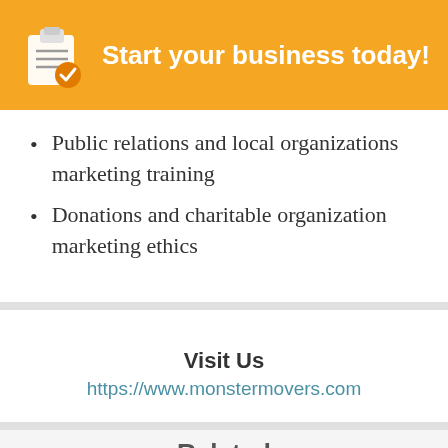[Figure (logo): Start your business today! orange banner with clipboard icon]
Public relations and local organizations marketing training
Donations and charitable organization marketing ethics
Visit Us
https://www.monstermovers.com
Related